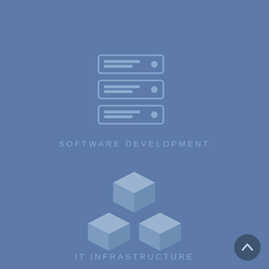[Figure (illustration): Server/database rack icon in light blue-grey on blue background]
SOFTWARE DEVELOPMENT
[Figure (illustration): 3D cubes/blocks icon representing IT infrastructure in light blue-grey]
IT INFRASTRUCTURE
[Figure (illustration): Cloud icon in light blue-grey on blue background]
[Figure (illustration): Back to top button - dark circle with upward chevron arrow]